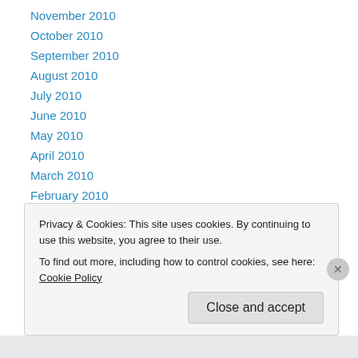November 2010
October 2010
September 2010
August 2010
July 2010
June 2010
May 2010
April 2010
March 2010
February 2010
January 2010
December 2009
November 2009
Privacy & Cookies: This site uses cookies. By continuing to use this website, you agree to their use. To find out more, including how to control cookies, see here: Cookie Policy
Close and accept